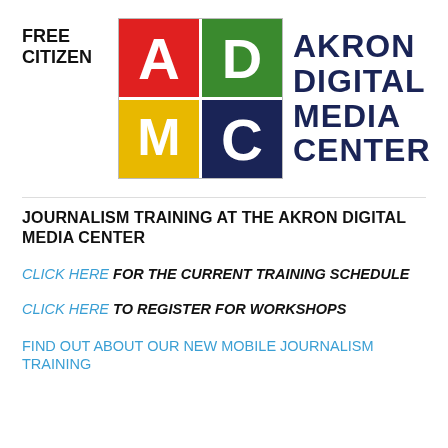FREE CITIZEN
[Figure (logo): Akron Digital Media Center logo with ADMC letter grid (A=red, D=green, M=yellow, C=navy) and text AKRON DIGITAL MEDIA CENTER in navy]
JOURNALISM TRAINING AT THE AKRON DIGITAL MEDIA CENTER
CLICK HERE FOR THE CURRENT TRAINING SCHEDULE
CLICK HERE TO REGISTER FOR WORKSHOPS
FIND OUT ABOUT OUR NEW MOBILE JOURNALISM TRAINING